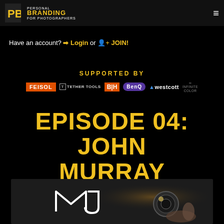[Figure (logo): Personal Branding for Photographers logo with golden PB icon and text]
Have an account? ➡ Login or 👤+ JOIN!
SUPPORTED BY
[Figure (logo): Sponsor logos row: FEISOL, TETHER TOOLS, B&H, BenQ, Westcott, Infinite Color]
EPISODE 04: JOHN MURRAY
[Figure (photo): Photo showing MJ logo monogram and a camera lens held by a hand, dark background]